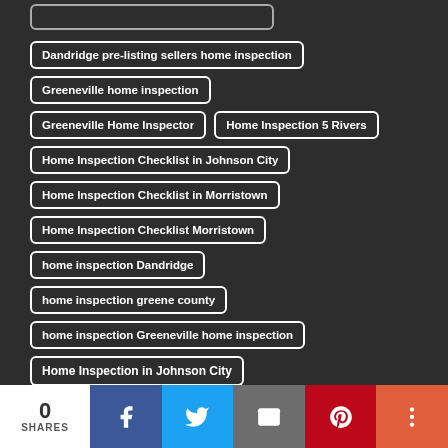(partial tag, top)
Dandridge pre-listing sellers home inspection
Greeneville home inspection
Greeneville Home Inspector
Home Inspection 5 Rivers
Home Inspection Checklist in Johnson City
Home Inspection Checklist in Morristown
Home Inspection Checklist Morristown
home inspection Dandridge
home inspection greene county
home inspection Greeneville home inspection
Home Inspection in Johnson City
0 SHARES | Facebook | Twitter | Email | Pinterest | More